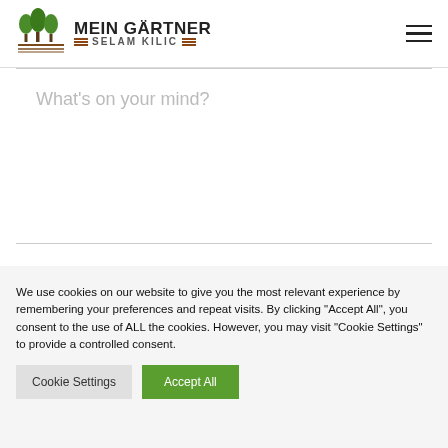[Figure (logo): Mein Gärtner Selam Kilic logo with two green trees and brown horizontal lines]
What's on your mind?
We use cookies on our website to give you the most relevant experience by remembering your preferences and repeat visits. By clicking "Accept All", you consent to the use of ALL the cookies. However, you may visit "Cookie Settings" to provide a controlled consent.
Cookie Settings
Accept All